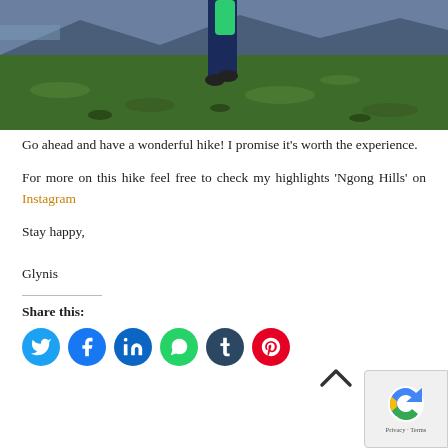[Figure (photo): Partial view of a person hiking on green grass hillside with mountains and sky in background. Only legs visible with green backpack.]
Go ahead and have a wonderful hike! I promise it's worth the experience.
For more on this hike feel free to check my highlights 'Ngong Hills' on Instagram
Stay happy,

Glynis
Share this:
[Figure (other): Social share icons: Twitter, Facebook, LinkedIn, WhatsApp, Tumblr, Pinterest]